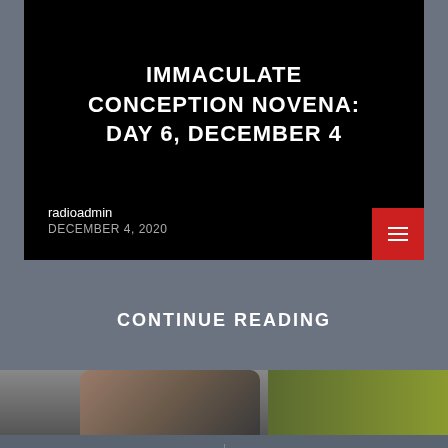IMMACULATE CONCEPTION NOVENA: DAY 6, DECEMBER 4
radioadmin
DECEMBER 4, 2020
CONTINUE READING
[Figure (photo): Bottom strip showing a partial photo of a person on the left and a yellow-green background on the right]
[Figure (other): Bottom navigation bar with a copy/layers icon on the left and a play button icon on the right, separated by a vertical divider]